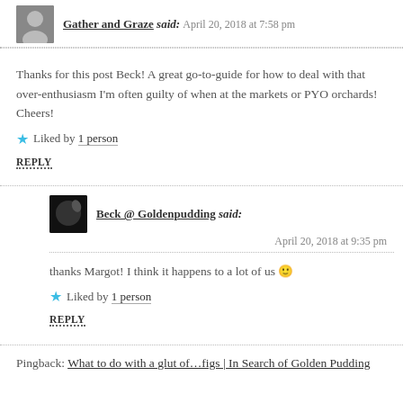Gather and Graze said: April 20, 2018 at 7:58 pm
Thanks for this post Beck! A great go-to-guide for how to deal with that over-enthusiasm I'm often guilty of when at the markets or PYO orchards! Cheers!
Liked by 1 person
REPLY
Beck @ Goldenpudding said: April 20, 2018 at 9:35 pm
thanks Margot! I think it happens to a lot of us 🙂
Liked by 1 person
REPLY
Pingback: What to do with a glut of…figs | In Search of Golden Pudding